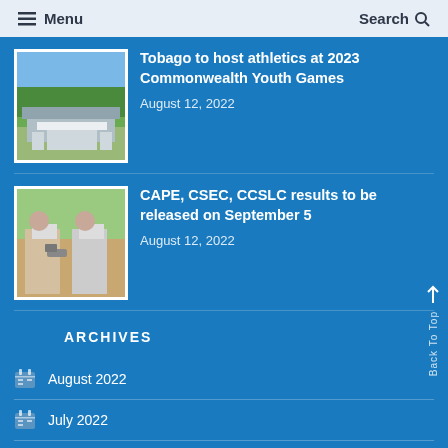Menu | Search
Tobago to host athletics at 2023 Commonwealth Youth Games
August 12, 2022
[Figure (photo): Aerial view of a stadium facility with green hills in the background]
CAPE, CSEC, CCSLC results to be released on September 5
August 12, 2022
[Figure (photo): Two students wearing masks sitting outdoors]
ARCHIVES
August 2022
July 2022